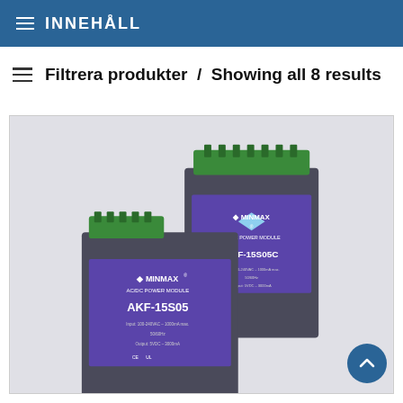INNEHÅLL
Filtrera produkter  /  Showing all 8 results
[Figure (photo): Two MINMAX AC/DC Power Module units (AKF-15S05C and AKF-15S05) shown side by side on a light gray background. The modules are rectangular dark gray/blue enclosures with purple labels showing the MINMAX logo and model numbers, with green terminal connector blocks on top.]